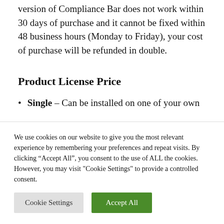version of Compliance Bar does not work within 30 days of purchase and it cannot be fixed within 48 business hours (Monday to Friday), your cost of purchase will be refunded in double.
Product License Price
Single – Can be installed on one of your own
We use cookies on our website to give you the most relevant experience by remembering your preferences and repeat visits. By clicking “Accept All”, you consent to the use of ALL the cookies. However, you may visit "Cookie Settings" to provide a controlled consent.